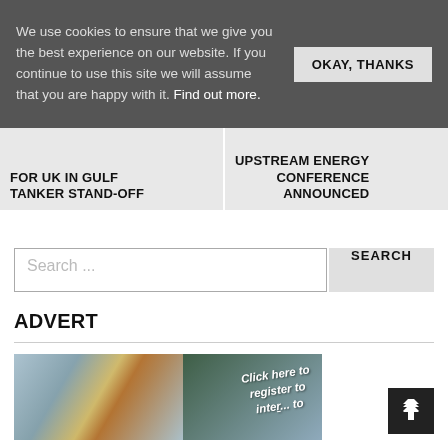We use cookies to ensure that we give you the best experience on our website. If you continue to use this site we will assume that you are happy with it. Find out more.
OKAY, THANKS
FOR UK IN GULF TANKER STAND-OFF
UPSTREAM ENERGY CONFERENCE ANNOUNCED
Search ...
SEARCH
ADVERT
[Figure (photo): Advertisement banner image showing a port/shipping terminal with cranes and containers, with text overlay reading 'Click here to register to inter... to']